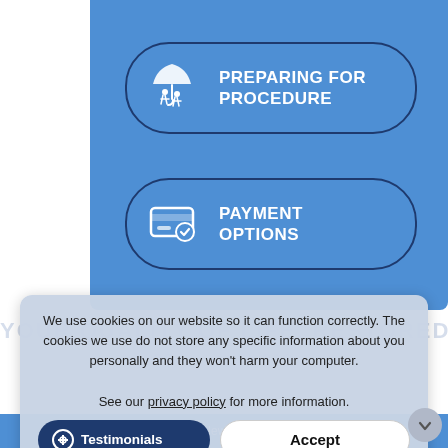[Figure (infographic): Blue panel with two rounded button options: 'PREPARING FOR PROCEDURE' with an umbrella/person icon, and 'PAYMENT OPTIONS' with a credit card icon. Below is a cookie consent banner overlaid on page content with 'Testimonials' and 'Accept' buttons.]
We use cookies on our website so it can function correctly. The cookies we use do not store any specific information about you personally and they won't harm your computer.

See our privacy policy for more information.
YOUR QUALITY OF LIFE, RESTORED
Procedures   News   Physician In...